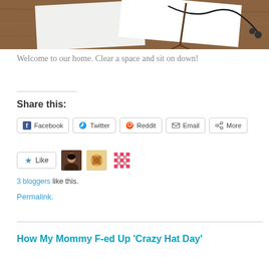[Figure (photo): Photo of papers and cables on a wooden desk surface, cropped at top]
Welcome to our home. Clear a space and sit on down!
Share this:
Facebook  Twitter  Reddit  Email  More
Like  [3 blogger avatars]
3 bloggers like this.
Permalink.
How My Mommy F-ed Up ‘Crazy Hat Day’